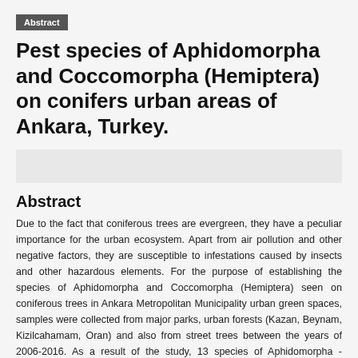Abstract
Pest species of Aphidomorpha and Coccomorpha (Hemiptera) on conifers urban areas of Ankara, Turkey.
Abstract
Due to the fact that coniferous trees are evergreen, they have a peculiar importance for the urban ecosystem. Apart from air pollution and other negative factors, they are susceptible to infestations caused by insects and other hazardous elements. For the purpose of establishing the species of Aphidomorpha and Coccomorpha (Hemiptera) seen on coniferous trees in Ankara Metropolitan Municipality urban green spaces, samples were collected from major parks, urban forests (Kazan, Beynam, Kizilcahamam, Oran) and also from street trees between the years of 2006-2016. As a result of the study, 13 species of Aphidomorpha - belonging to Lacninae (12),